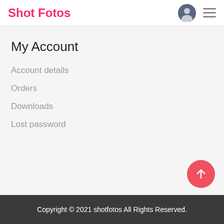Shot Fotos
My Account
Account details
Orders
Downloads
Lost password
Copyright © 2021 shotfotos All Rights Reserved.